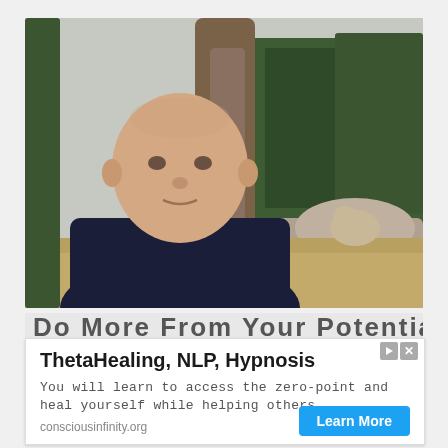[Figure (photo): A bald man in a dark navy V-neck sweater seated outdoors against a backdrop of dry grass, driftwood/dead trees, and green cypress trees under an overcast sky.]
Do More From Your Potential Will
ThetaHealing, NLP, Hypnosis
You will learn to access the zero-point and heal yourself while helping others.
consciousinfinity.org
Learn More